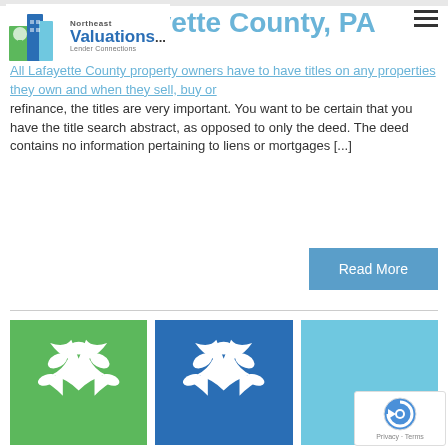[Figure (logo): Northeast Valuations Lender Connections logo with building and tree icon]
ivette County, PA
All Lafayette County property owners have to have titles on any properties they own and when they sell, buy or refinance, the titles are very important. You want to be certain that you have the title search abstract, as opposed to only the deed. The deed contains no information pertaining to liens or mortgages [...]
[Figure (illustration): Read More button - steel blue rectangle]
[Figure (illustration): Three thumbnail images: green tree silhouette, blue tree silhouette, light blue background]